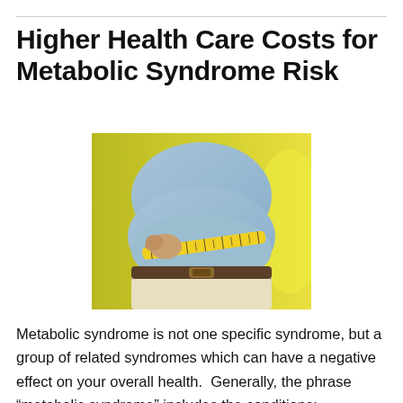Higher Health Care Costs for Metabolic Syndrome Risk
[Figure (photo): Overweight person measuring their waist with a yellow tape measure, wearing a light blue shirt and khaki pants, against a yellow-green background.]
Metabolic syndrome is not one specific syndrome, but a group of related syndromes which can have a negative effect on your overall health.  Generally, the phrase “metabolic syndrome” includes the conditions: